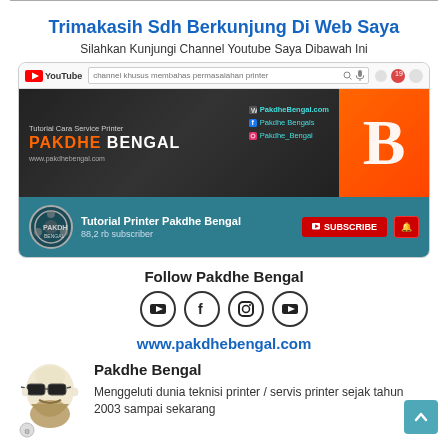Trimakasih Sdh Berkunjung Di Web Saya
Silahkan Kunjungi Channel Youtube Saya Dibawah Ini
[Figure (screenshot): YouTube channel page screenshot for 'Tutorial Printer Pakdhe Bengal' with 88,2 rb subscribers, showing the channel banner with 'PAKDHE BENGAL' branding, social media links, and a Subscribe button]
Follow Pakdhe Bengal
[Figure (illustration): Four social media icons in circles: YouTube, Facebook, Instagram, YouTube]
www.pakdhebengal.com
[Figure (illustration): Cartoon avatar of a bald bearded man with sunglasses]
Pakdhe Bengal
Menggeluti dunia teknisi printer / servis printer sejak tahun 2003 sampai sekarang